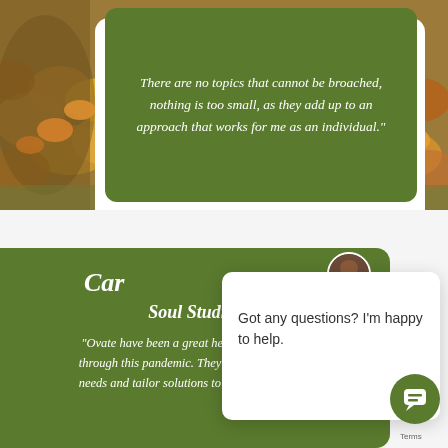[Figure (photo): Autumn leaves background photo in warm orange, yellow, and brown tones]
There are no topics that cannot be broached, nothing is too small, as they add up to an approach that works for me as an individual."
Car...
Soul Studios
"Ovate have been a great help to my business through this pandemic. They really listen to your needs and tailor solutions to help you as every
Got any questions? I'm happy to help.